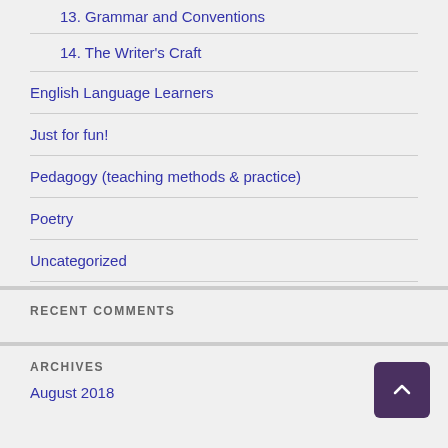13. Grammar and Conventions
14. The Writer's Craft
English Language Learners
Just for fun!
Pedagogy (teaching methods & practice)
Poetry
Uncategorized
RECENT COMMENTS
ARCHIVES
August 2018